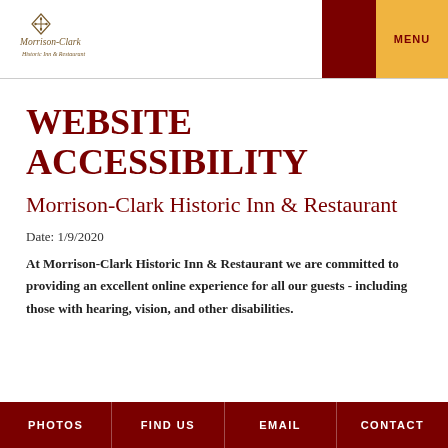[Figure (logo): Morrison-Clark Historic Inn & Restaurant logo with diamond ornament and cursive text]
WEBSITE ACCESSIBILITY
Morrison-Clark Historic Inn & Restaurant
Date: 1/9/2020
At Morrison-Clark Historic Inn & Restaurant we are committed to providing an excellent online experience for all our guests - including those with hearing, vision, and other disabilities.
PHOTOS  FIND US  EMAIL  CONTACT